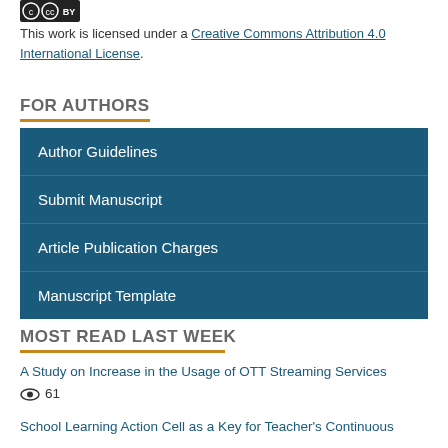[Figure (logo): Creative Commons BY license badge image]
This work is licensed under a Creative Commons Attribution 4.0 International License.
FOR AUTHORS
Author Guidelines
Submit Manuscript
Article Publication Charges
Manuscript Template
MOST READ LAST WEEK
A Study on Increase in the Usage of OTT Streaming Services 👁 61
School Learning Action Cell as a Key for Teacher's Continuous